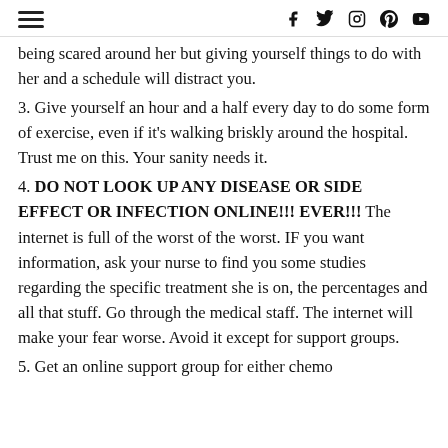≡  f  𝕥  ⊙  ⊕  ▶
being scared around her but giving yourself things to do with her and a schedule will distract you.
3. Give yourself an hour and a half every day to do some form of exercise, even if it's walking briskly around the hospital. Trust me on this. Your sanity needs it.
4. DO NOT LOOK UP ANY DISEASE OR SIDE EFFECT OR INFECTION ONLINE!!! EVER!!! The internet is full of the worst of the worst. IF you want information, ask your nurse to find you some studies regarding the specific treatment she is on, the percentages and all that stuff. Go through the medical staff. The internet will make your fear worse. Avoid it except for support groups.
5. Get an online support group for either chemo